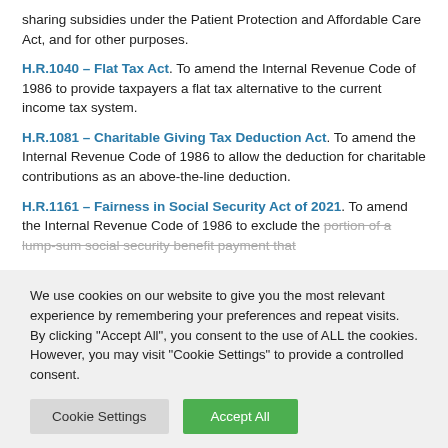sharing subsidies under the Patient Protection and Affordable Care Act, and for other purposes.
H.R.1040 – Flat Tax Act. To amend the Internal Revenue Code of 1986 to provide taxpayers a flat tax alternative to the current income tax system.
H.R.1081 – Charitable Giving Tax Deduction Act. To amend the Internal Revenue Code of 1986 to allow the deduction for charitable contributions as an above-the-line deduction.
H.R.1161 – Fairness in Social Security Act of 2021. To amend the Internal Revenue Code of 1986 to exclude the portion of a lump-sum social security benefit payment that
We use cookies on our website to give you the most relevant experience by remembering your preferences and repeat visits. By clicking "Accept All", you consent to the use of ALL the cookies. However, you may visit "Cookie Settings" to provide a controlled consent.